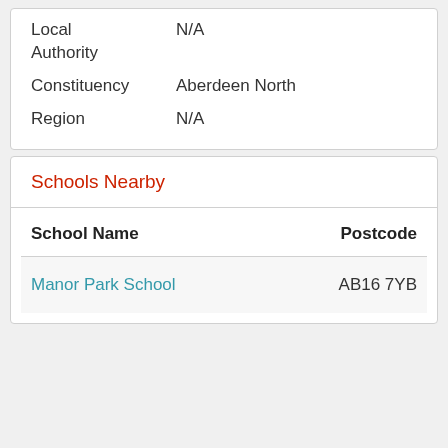|  |  |
| --- | --- |
| Local Authority | N/A |
| Constituency | Aberdeen North |
| Region | N/A |
Schools Nearby
| School Name | Postcode |
| --- | --- |
| Manor Park School | AB16 7YB |